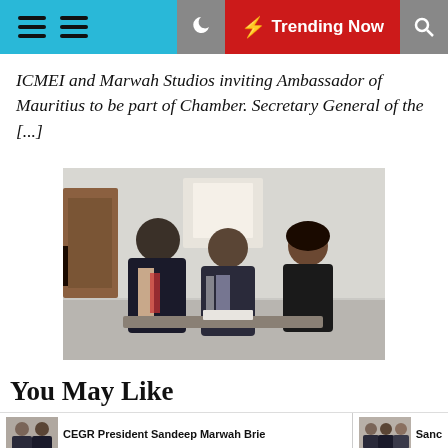Trending Now
ICMEI and Marwah Studios inviting Ambassador of Mauritius to be part of Chamber. Secretary General of the [...]
[Figure (photo): Three people standing indoors in formal attire, two men and one woman, appearing to be at an office or meeting room.]
You May Like
CEGR President Sandeep Marwah Brie
Sanс